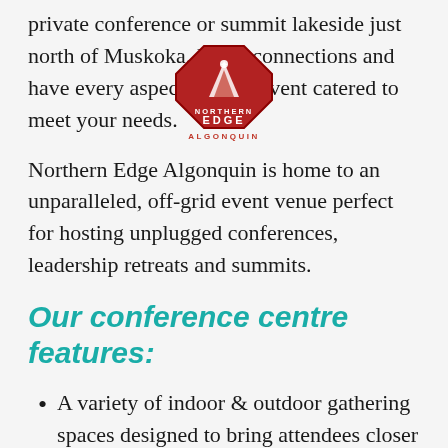private conference or summit lakeside just north of Muskoka. Make connections and have every aspect of your event catered to meet your needs.
[Figure (logo): Northern Edge Algonquin logo — red octagonal compass/mountain emblem with text 'NORTHERN EDGE ALGONQUIN' in red and dark grey]
Northern Edge Algonquin is home to an unparalleled, off-grid event venue perfect for hosting unplugged conferences, leadership retreats and summits.
Our conference centre features:
A variety of indoor & outdoor gathering spaces designed to bring attendees closer